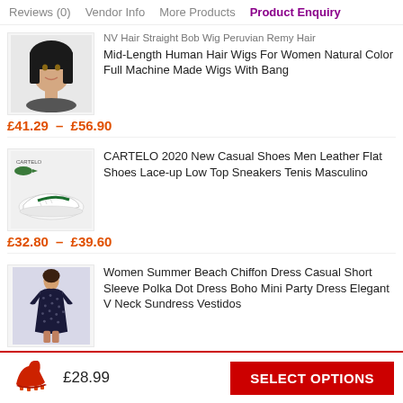Reviews (0)   Vendor Info   More Products   Product Enquiry
[Figure (photo): Black bob wig product photo - woman wearing straight bob wig]
NV Hair Straight Bob Wig Peruvian Remy Hair Mid-Length Human Hair Wigs For Women Natural Color Full Machine Made Wigs With Bang
£41.29 – £56.90
[Figure (photo): White Cartelo sneaker shoe product photo with green logo]
CARTELO 2020 New Casual Shoes Men Leather Flat Shoes Lace-up Low Top Sneakers Tenis Masculino
£32.80 – £39.60
[Figure (photo): Woman wearing navy blue polka dot chiffon dress product photo]
Women Summer Beach Chiffon Dress Casual Short Sleeve Polka Dot Dress Boho Mini Party Dress Elegant V Neck Sundress Vestidos
£14.26 – £14.94
£28.99   SELECT OPTIONS